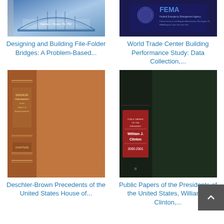[Figure (photo): Book cover of 'Designing and Building File-Folder Bridges: A Problem-Based...' showing a blue bridge design]
[Figure (photo): Book cover of 'World Trade Center Building Performance Study: Data Collection,...' with FEMA logo on dark background]
Designing and Building File-Folder Bridges: A Problem-Based...
World Trade Center Building Performance Study: Data Collection,...
[Figure (photo): Book cover of 'Deschler-Brown Precedents of the United States House of...' showing a brown hardcover with spine]
[Figure (photo): Book cover of 'Public Papers of the Presidents of the United States, William J. Clinton,...' showing a dark green hardcover with red spine label reading 'William J. Clinton 2000-2001']
Deschler-Brown Precedents of the United States House of...
Public Papers of the Presidents of the United States, William J. Clinton,...